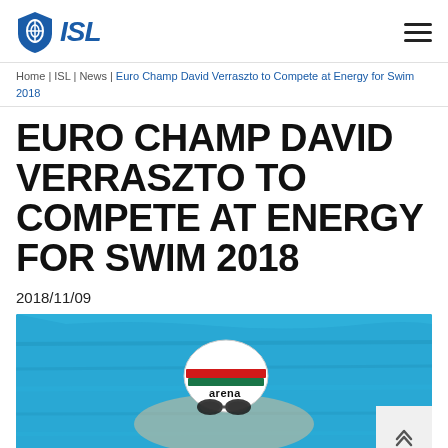ISL logo and navigation
Home | ISL | News | Euro Champ David Verraszto to Compete at Energy for Swim 2018
EURO CHAMP DAVID VERRASZTO TO COMPETE AT ENERGY FOR SWIM 2018
2018/11/09
[Figure (photo): Swimmer David Verraszto in pool wearing white arena swim cap and goggles]